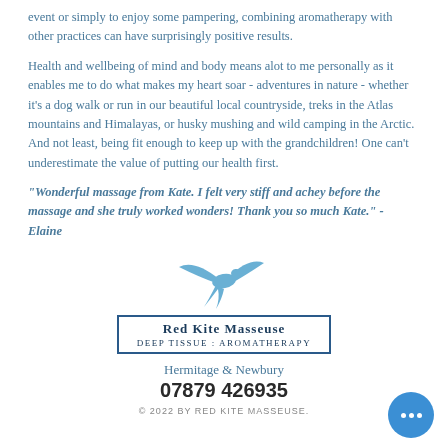event or simply to enjoy some pampering, combining aromatherapy with other practices can have surprisingly positive results.
Health and wellbeing of mind and body means alot to me personally as it enables me to do what makes my heart soar - adventures in nature - whether it's a dog walk or run in our beautiful local countryside, treks in the Atlas mountains and Himalayas, or husky mushing and wild camping in the Arctic. And not least, being fit enough to keep up with the grandchildren! One can't underestimate the value of putting our health first.
"Wonderful massage from Kate. I felt very stiff and achey before the massage and she truly worked wonders! Thank you so much Kate." - Elaine
[Figure (illustration): Blue silhouette of a red kite bird in flight]
Red Kite Masseuse
Deep Tissue : Aromatherapy
Hermitage & Newbury
07879 426935
© 2022 BY RED KITE MASSEUSE.